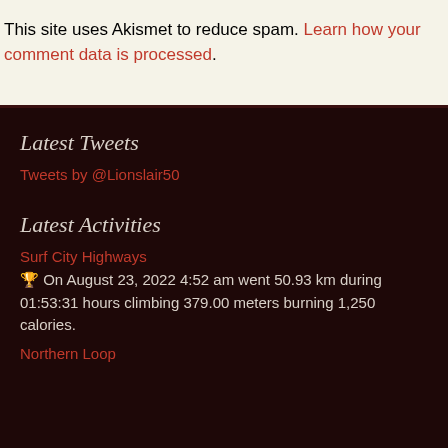This site uses Akismet to reduce spam. Learn how your comment data is processed.
Latest Tweets
Tweets by @Lionslair50
Latest Activities
Surf City Highways
🏆 On August 23, 2022 4:52 am went 50.93 km during 01:53:31 hours climbing 379.00 meters burning 1,250 calories.
Northern Loop